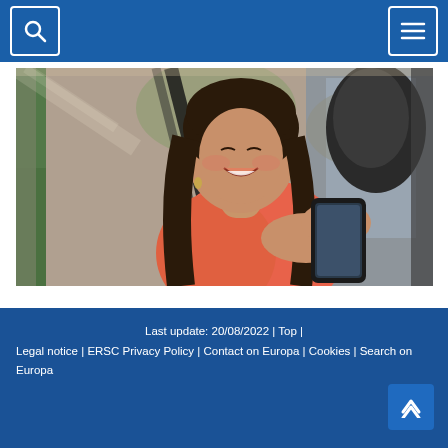[Search icon] [Menu icon]
[Figure (photo): Young woman with long dark hair wearing a coral/orange top, seated in a car with seatbelt, smiling while looking at her smartphone. Car interior visible in background with blurred green trees outside.]
Last update: 20/08/2022 | Top | Legal notice | ERSC Privacy Policy | Contact on Europa | Cookies | Search on Europa